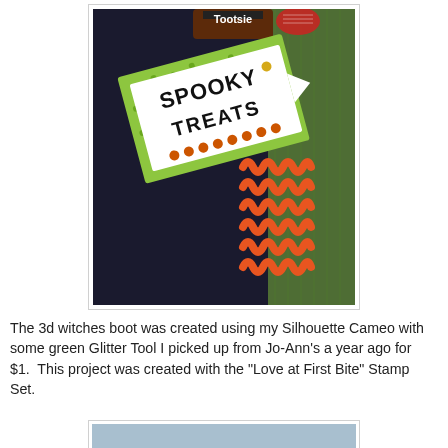[Figure (photo): A Halloween-themed 3D witch's boot craft in black fabric with a green glitter tulle accent and an orange rick-rack ribbon trim. A white tag label reads 'Spooky Treats' in black bold Halloween-style font, mounted on a lime green polka-dot backing. Orange rhinestone gems are glued along the bottom edge of the tag. Tootsie Roll candy wrappers are visible at the top of the boot. The background is white/light gray.]
The 3d witches boot was created using my Silhouette Cameo with some green Glitter Tool I picked up from Jo-Ann's a year ago for $1.  This project was created with the "Love at First Bite" Stamp Set.
[Figure (photo): Partial view of another photo at the bottom of the page — a light blue/gray background is visible, likely another craft project.]